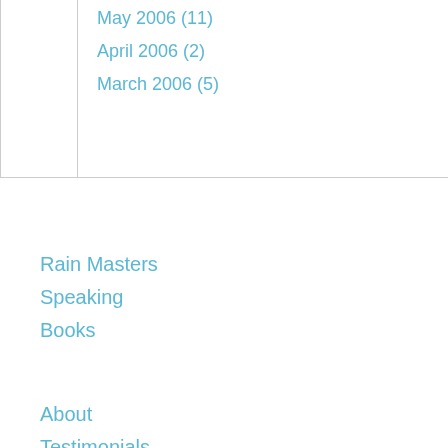May 2006 (11)
April 2006 (2)
March 2006 (5)
Rain Masters
Speaking
Books
About
Testimonials